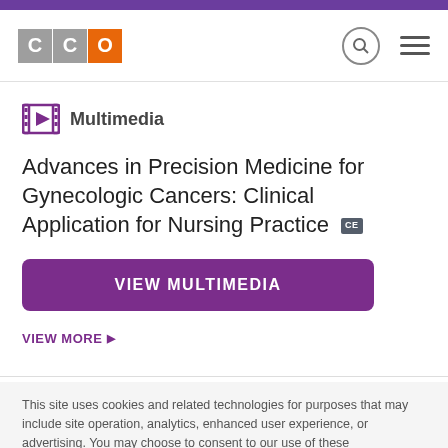[Figure (logo): CCO logo with two gray C squares and one orange O square]
Multimedia
Advances in Precision Medicine for Gynecologic Cancers: Clinical Application for Nursing Practice CE
VIEW MULTIMEDIA
VIEW MORE ▶
This site uses cookies and related technologies for purposes that may include site operation, analytics, enhanced user experience, or advertising. You may choose to consent to our use of these technologies, or manage your own preferences. For more information, see our Privacy policy